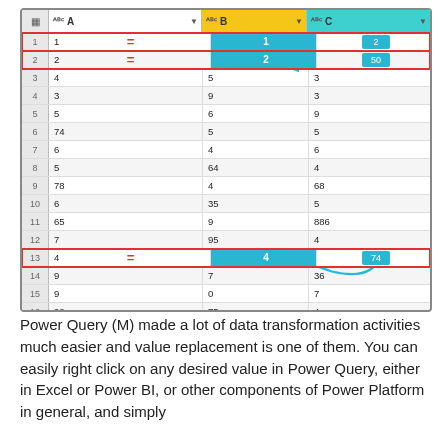[Figure (screenshot): A Power Query spreadsheet screenshot showing three columns A, B, C with 17 rows of data. Column B is highlighted yellow, Column C header is teal. Rows 1, 2, 13, and 17 are highlighted with red borders showing matched/equal values between columns A and B. Blue curved arrows connect values in column C to matching values in column B for rows 1, 2, 13, and 17.]
Power Query (M) made a lot of data transformation activities much easier and value replacement is one of them. You can easily right click on any desired value in Power Query, either in Excel or Power BI, or other components of Power Platform in general, and simply